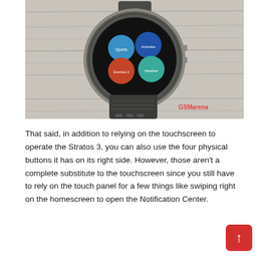[Figure (photo): Photo of a smartwatch (Amazfit Stratos 3) showing its round display with app icons (Sports, Activities, Weather, Exercise) on a light wooden surface. The watch has a gray rubber band. GSMArena watermark visible in bottom right.]
That said, in addition to relying on the touchscreen to operate the Stratos 3, you can also use the four physical buttons it has on its right side. However, those aren't a complete substitute to the touchscreen since you still have to rely on the touch panel for a few things like swiping right on the homescreen to open the Notification Center.